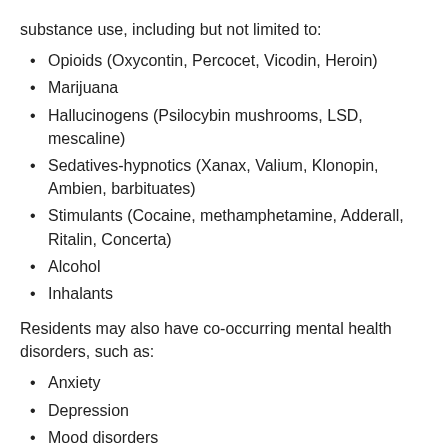substance use, including but not limited to:
Opioids (Oxycontin, Percocet, Vicodin, Heroin)
Marijuana
Hallucinogens (Psilocybin mushrooms, LSD, mescaline)
Sedatives-hypnotics (Xanax, Valium, Klonopin, Ambien, barbituates)
Stimulants (Cocaine, methamphetamine, Adderall, Ritalin, Concerta)
Alcohol
Inhalants
Residents may also have co-occurring mental health disorders, such as:
Anxiety
Depression
Mood disorders
ADHD